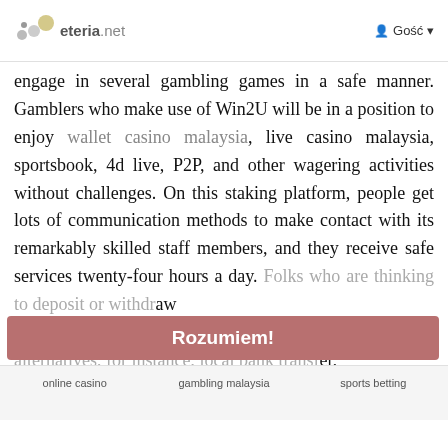eteria.net | Gość
engage in several gambling games in a safe manner. Gamblers who make use of Win2U will be in a position to enjoy wallet casino malaysia, live casino malaysia, sportsbook, 4d live, P2P, and other wagering activities without challenges. On this staking platform, people get lots of communication methods to make contact with its remarkably skilled staff members, and they receive safe services twenty-four hours a day. Folks who are thinking to deposit or withdraw cash on this site can apply quite a few transaction alternatives, for instance, local bank transfer, payment gateway, e-wallet, and much more. You can visit this site to get total insights about online gambling malaysia.
Rozumiem!
online casino | gambling malaysia | sports betting